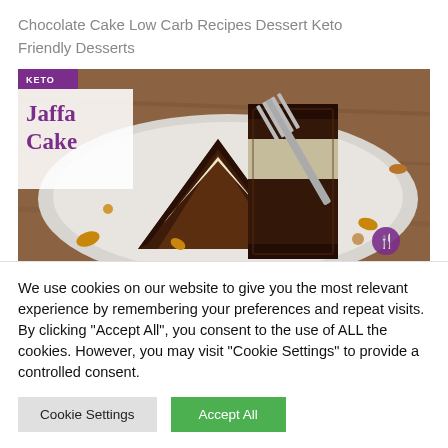Chocolate Cake Low Carb Recipes Dessert Keto Friendly Desserts
[Figure (photo): Photo of a keto Jaffa Cake slice on a plate with a fork, showing chocolate layers and cream filling, with scattered nuts/pretzels. Overlaid text reads 'KETO' in purple banner and 'Jaffa Cake' in purple serif font on white background.]
This Cake Is The Keto Jaffa Cake Nuff Said Enjoy
We use cookies on our website to give you the most relevant experience by remembering your preferences and repeat visits. By clicking "Accept All", you consent to the use of ALL the cookies. However, you may visit "Cookie Settings" to provide a controlled consent.
Cookie Settings | Accept All